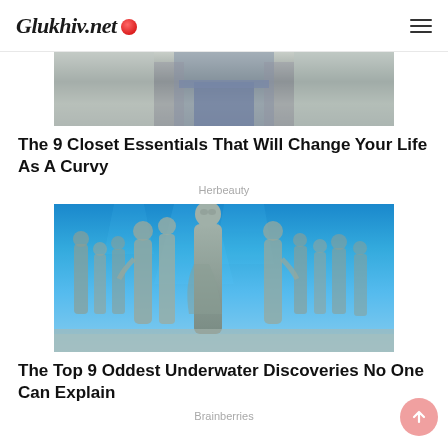Glukhiv.net
[Figure (photo): Partial photo of a person in jeans, cropped — top portion of a fashion article image]
The 9 Closet Essentials That Will Change Your Life As A Curvy
Herbeauty
[Figure (photo): Underwater photo showing multiple stone/concrete human statues submerged in blue water, with a central figure looking upward]
The Top 9 Oddest Underwater Discoveries No One Can Explain
Brainberries